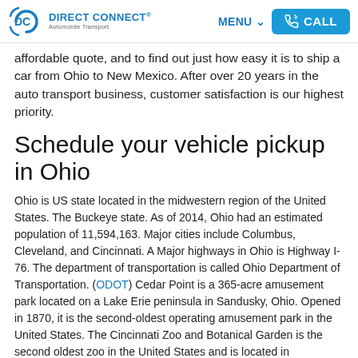DIRECT CONNECT® Automobile Transport — MENU — CALL
affordable quote, and to find out just how easy it is to ship a car from Ohio to New Mexico. After over 20 years in the auto transport business, customer satisfaction is our highest priority.
Schedule your vehicle pickup in Ohio
Ohio is US state located in the midwestern region of the United States. The Buckeye state. As of 2014, Ohio had an estimated population of 11,594,163. Major cities include Columbus, Cleveland, and Cincinnati. A Major highways in Ohio is Highway I-76. The department of transportation is called Ohio Department of Transportation. (ODOT) Cedar Point is a 365-acre amusement park located on a Lake Erie peninsula in Sandusky, Ohio. Opened in 1870, it is the second-oldest operating amusement park in the United States. The Cincinnati Zoo and Botanical Garden is the second oldest zoo in the United States and is located in Cincinnati, Ohio. The National Underground Railroad Freedom Center is a museum in